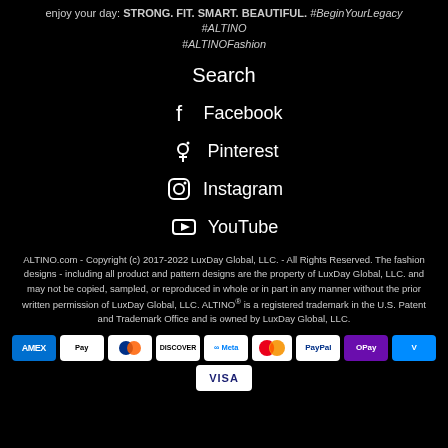enjoy your day: STRONG. FIT. SMART. BEAUTIFUL. #BeginYourLegacy #ALTINO #ALTINOFashion
Search
Facebook
Pinterest
Instagram
YouTube
ALTINO.com - Copyright (c) 2017-2022 LuxDay Global, LLC. - All Rights Reserved. The fashion designs - including all product and pattern designs are the property of LuxDay Global, LLC. and may not be copied, sampled, or reproduced in whole or in part in any manner without the prior written permission of LuxDay Global, LLC. ALTINO® is a registered trademark in the U.S. Patent and Trademark Office and is owned by LuxDay Global, LLC.
[Figure (other): Payment method icons: Amex, Apple Pay, Diners, Discover, Meta, Mastercard, PayPal, GPay, Venmo, Visa]